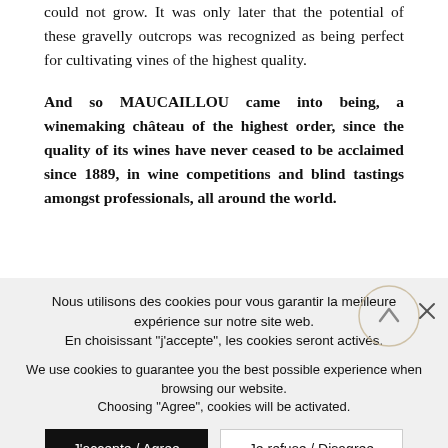could not grow. It was only later that the potential of these gravelly outcrops was recognized as being perfect for cultivating vines of the highest quality.
And so MAUCAILLOU came into being, a winemaking château of the highest order, since the quality of its wines have never ceased to be acclaimed since 1889, in wine competitions and blind tastings amongst professionals, all around the world.
Nous utilisons des cookies pour vous garantir la meilleure expérience sur notre site web.
En choisissant "j'accepte", les cookies seront activés.

We use cookies to guarantee you the best possible experience when browsing our website.
Choosing "Agree", cookies will be activated.